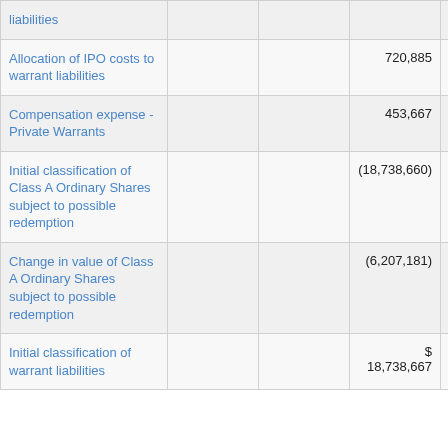|  |  |  |  |  |
| --- | --- | --- | --- | --- |
| liabilities |  |  |  |  |
| Allocation of IPO costs to warrant liabilities |  |  | 720,885 |  |
| Compensation expense - Private Warrants |  |  | 453,667 |  |
| Initial classification of Class A Ordinary Shares subject to possible redemption |  |  | (18,738,660) |  |
| Change in value of Class A Ordinary Shares subject to possible redemption |  |  | (6,207,181) |  |
| Initial classification of warrant liabilities |  |  | $ 18,738,667 |  |